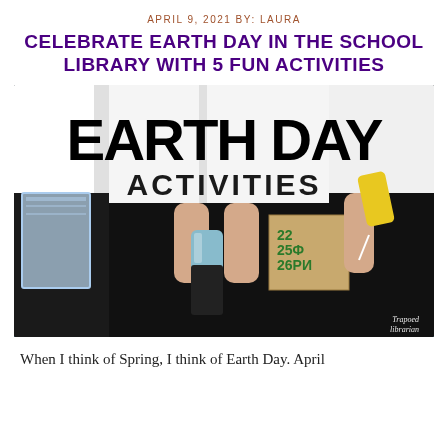APRIL 9, 2021 BY: LAURA
CELEBRATE EARTH DAY IN THE SCHOOL LIBRARY WITH 5 FUN ACTIVITIES
[Figure (photo): Photo of people in white t-shirts holding recycling items (plastic bin, water bottle, cardboard box) with 'EARTH DAY ACTIVITIES' text overlaid. Watermark reads 'Trapoed librarian'.]
When I think of Spring, I think of Earth Day. April